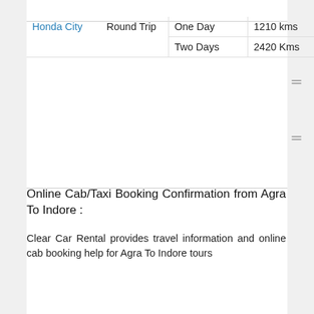| Car | Trip Type | Duration | Distance |
| --- | --- | --- | --- |
| Honda City | Round Trip | One Day | 1210 kms |
|  |  | Two Days | 2420 Kms |
Online Cab/Taxi Booking Confirmation from Agra To Indore :
Clear Car Rental provides travel information and online cab booking help for Agra To Indore tours